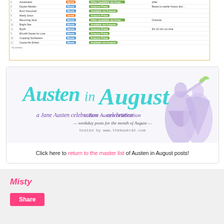[Figure (screenshot): Partial screenshot of a table listing Jane Austen adaptations with columns for number, title, type (Movie/Serial), streaming platform (Amazon Prime, Netflix, etc.), and notes]
[Figure (illustration): Austen in August banner image with teal cursive text 'Austen in August', subtitle 'a Jane Austen celebration - weekday posts for the month of August - hosted by www.thebookrat.com', and illustration of two Regency-era women dancing]
Click here to return to the master list of Austen in August posts!
Misty
Share